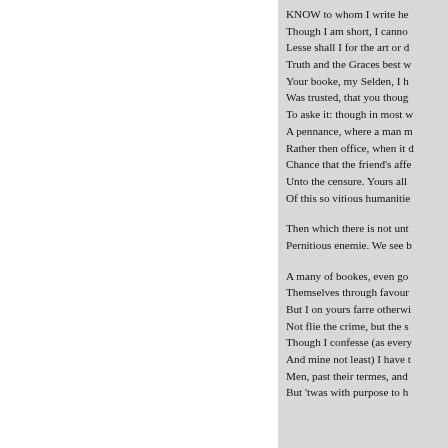KNOW to whom I write he
Though I am short, I canno
Lesse shall I for the art or d
Truth and the Graces best w
Your booke, my Selden, I h
Was trusted, that you thoug
To aske it: though in most w
A pennance, where a man m
Rather then office, when it d
Chance that the friend's affe
Unto the censure. Yours all
Of this so vitious humanitie

Then which there is not unt
Pernitious enemie. We see b

A many of bookes, even go
Themselves through favour
But I on yours farre otherwi
Not flie the crime, but the s
Though I confesse (as every
And mine not least) I have t
Men, past their termes, and
But 'twas with purpose to h